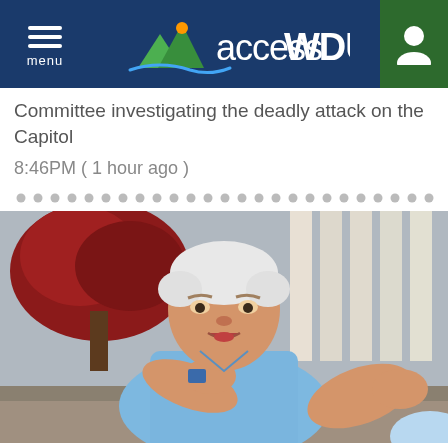accessWDUN
Committee investigating the deadly attack on the Capitol
8:46PM ( 1 hour ago )
[Figure (photo): An older white-haired man in a light blue polo shirt speaking and gesturing with both hands outdoors, with a red-leafed tree and building columns in the background.]